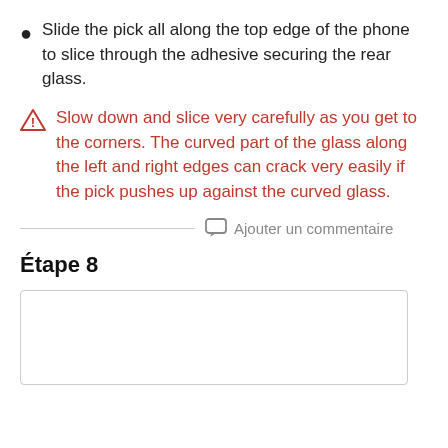Slide the pick all along the top edge of the phone to slice through the adhesive securing the rear glass.
Slow down and slice very carefully as you get to the corners. The curved part of the glass along the left and right edges can crack very easily if the pick pushes up against the curved glass.
Ajouter un commentaire
Étape 8
[Figure (photo): Empty image box for step 8]